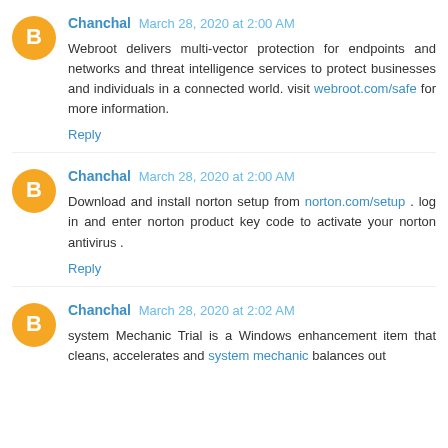Chanchal March 28, 2020 at 2:00 AM
Webroot delivers multi-vector protection for endpoints and networks and threat intelligence services to protect businesses and individuals in a connected world. visit webroot.com/safe for more information.
Reply
Chanchal March 28, 2020 at 2:00 AM
Download and install norton setup from norton.com/setup . log in and enter norton product key code to activate your norton antivirus .
Reply
Chanchal March 28, 2020 at 2:02 AM
system Mechanic Trial is a Windows enhancement item that cleans, accelerates and system mechanic balances out